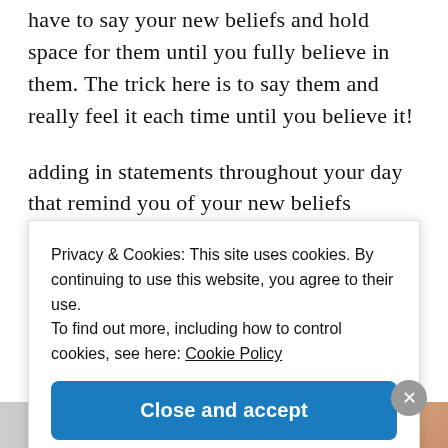have to say your new beliefs and hold space for them until you fully believe in them. The trick here is to say them and really feel it each time until you believe it!
adding in statements throughout your day that remind you of your new beliefs
for example, Money is all around me always
Privacy & Cookies: This site uses cookies. By continuing to use this website, you agree to their use.
To find out more, including how to control cookies, see here: Cookie Policy
Close and accept